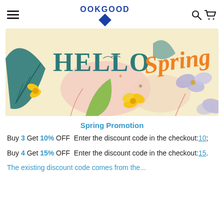OOKGOOD
[Figure (illustration): Hello Spring promotional banner with spring flowers, leaves, and decorative text reading HELLO Spring in teal and orange]
Spring Promotion
Buy 3 Get 10% OFF Enter the discount code in the checkout:10;
Buy 4 Get 15% OFF Enter the discount code in the checkout:15.
The existing discount code comes from the...